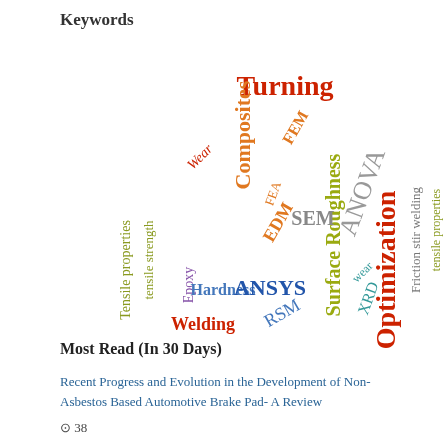Keywords
[Figure (infographic): Word cloud showing engineering/materials science keywords in various colors, sizes, and orientations. Words include: Turning (large, red), Optimization (large, red), Surface Roughness (large, olive/yellow-green), ANOVA (large, gray), Composites (large, orange), ANSYS (large, blue), Tensile properties (medium, olive, vertical), tensile strength (medium, olive, vertical), Wear (medium, red, rotated), Hardness (medium, blue), Epoxy (medium, purple), Welding (medium, red), RSM (medium, blue, rotated), EDM (medium, orange, rotated), FEM (medium, orange, rotated), FEA (small, orange), SEM (medium, gray), XRD (medium, teal), wear (small, teal), Friction stir welding (medium, gray, vertical), tensile properties (medium, olive, vertical, right side)]
Most Read (In 30 Days)
Recent Progress and Evolution in the Development of Non-Asbestos Based Automotive Brake Pad- A Review
⊙ 38